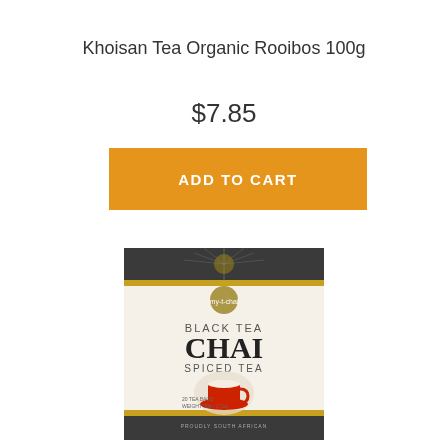Khoisan Tea Organic Rooibos 100g
$7.85
ADD TO CART
[Figure (photo): Product box of my-t-chai Black Tea Chai Spiced Tea, 20 tea bags, with a red cup of tea on the front, dark patterned border at top and bottom.]